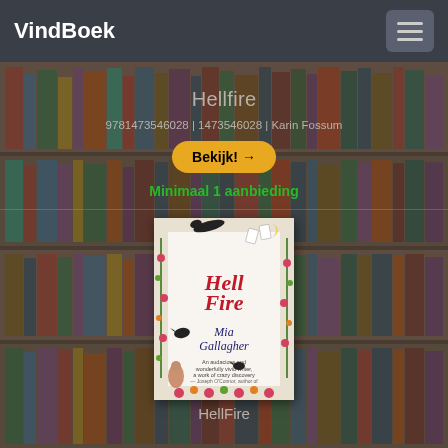VindBoek
Hellfire
9781473546028 | 1473546028 | Karin Fossum
Bekijk! →
Minimaal 1 aanbieding
[Figure (illustration): Book cover of HellFire by Mia Gallagher, decorated with illustrated border of animals, birds, a horse, moon, flowers and vines. Title in red script, author name below.]
HellFire